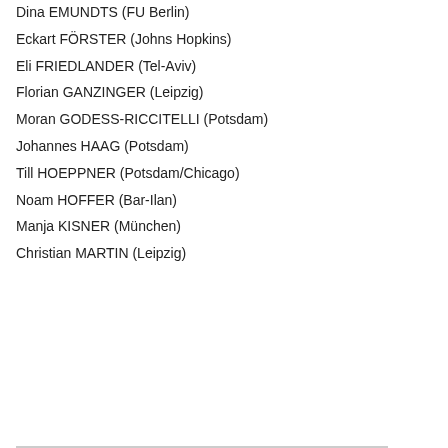Dina EMUNDTS (FU Berlin)
Eckart FÖRSTER (Johns Hopkins)
Eli FRIEDLANDER (Tel-Aviv)
Florian GANZINGER (Leipzig)
Moran GODESS-RICCITELLI (Potsdam)
Johannes HAAG (Potsdam)
Till HOEPPNER (Potsdam/Chicago)
Noam HOFFER (Bar-Ilan)
Manja KISNER (München)
Christian MARTIN (Leipzig)